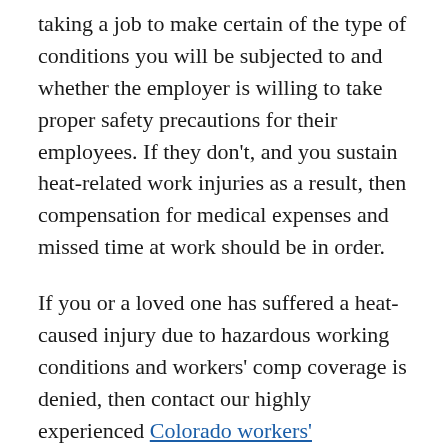taking a job to make certain of the type of conditions you will be subjected to and whether the employer is willing to take proper safety precautions for their employees. If they don't, and you sustain heat-related work injuries as a result, then compensation for medical expenses and missed time at work should be in order.
If you or a loved one has suffered a heat-caused injury due to hazardous working conditions and workers' comp coverage is denied, then contact our highly experienced Colorado workers' compensation attorney R Mack Babcock for a free consultation.
Disclaimer
While the Babcock Law Firm tirelessly works to obtain successful outcomes for its clients, prior results do not